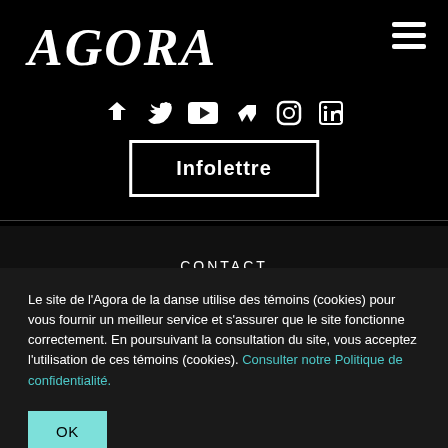AGORA
[Figure (illustration): Social media icons row: share/plant, bird/twitter, play button, vimeo, instagram, linkedin]
Infolettre
CONTACT
BILLETTERIE
LOCATIONS
Le site de l'Agora de la danse utilise des témoins (cookies) pour vous fournir un meilleur service et s'assurer que le site fonctionne correctement. En poursuivant la consultation du site, vous acceptez l'utilisation de ces témoins (cookies). Consulter notre Politique de confidentialité.
OK